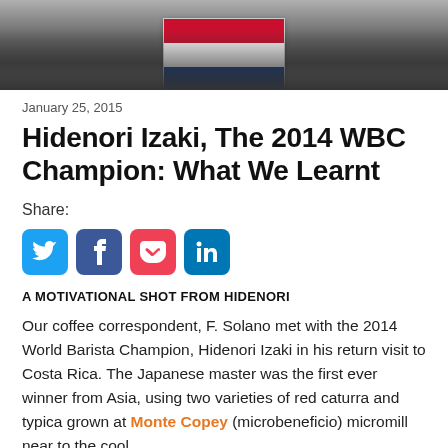[Figure (photo): Photo of people holding a Costa Rica flag, partial view of a group]
January 25, 2015
Hidenori Izaki, The 2014 WBC Champion: What We Learnt
Share:
[Figure (infographic): Social share buttons: Twitter, Facebook, Pocket, LinkedIn]
A MOTIVATIONAL SHOT FROM HIDENORI
Our coffee correspondent, F. Solano met with the 2014 World Barista Champion, Hidenori Izaki in his return visit to Costa Rica. The Japanese master was the first ever winner from Asia, using two varieties of red caturra and typica grown at Monte Copey (microbeneficio) micromill near to the cool